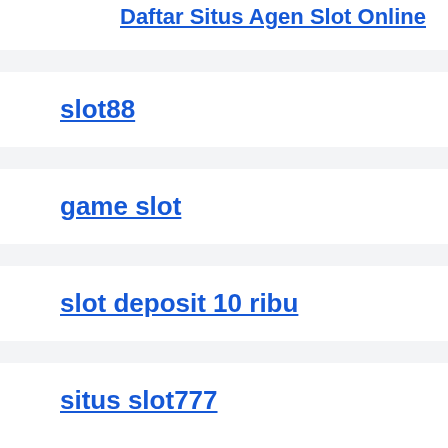Daftar Situs Agen Slot Online
slot88
game slot
slot deposit 10 ribu
situs slot777